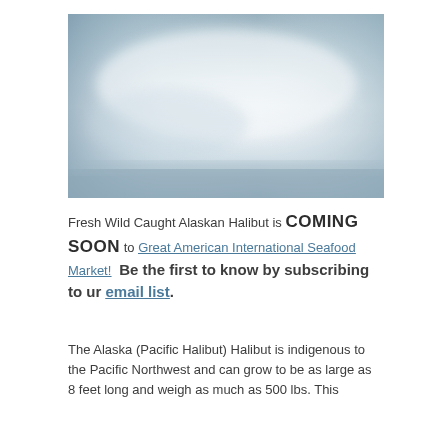[Figure (photo): Blurred abstract image with soft blue-grey and white gradient tones, resembling a misty seascape or abstract background.]
Fresh Wild Caught Alaskan Halibut is COMING SOON to Great American International Seafood Market!  Be the first to know by subscribing to ur email list.
The Alaska (Pacific Halibut) Halibut is indigenous to the Pacific Northwest and can grow to be as large as 8 feet long and weigh as much as 500 lbs. This